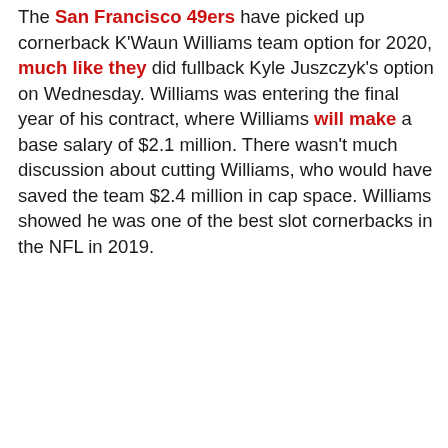The San Francisco 49ers have picked up cornerback K'Waun Williams team option for 2020, much like they did fullback Kyle Juszczyk's option on Wednesday. Williams was entering the final year of his contract, where Williams will make a base salary of $2.1 million. There wasn't much discussion about cutting Williams, who would have saved the team $2.4 million in cap space. Williams showed he was one of the best slot cornerbacks in the NFL in 2019.